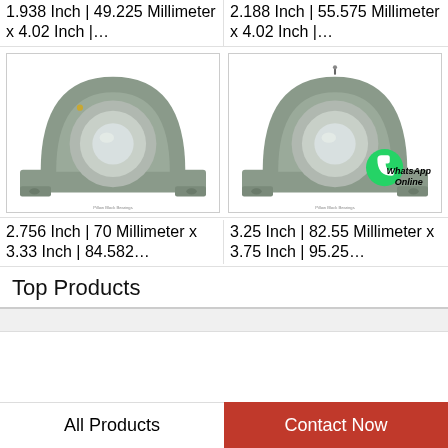1.938 Inch | 49.225 Millimeter x 4.02 Inch |…
2.188 Inch | 55.575 Millimeter x 4.02 Inch |…
[Figure (photo): Pillow block bearing, gray cast iron housing with cylindrical bore, mounting base with bolt holes]
[Figure (photo): Pillow block bearing with WhatsApp Online badge overlay, gray cast iron housing]
2.756 Inch | 70 Millimeter x 3.33 Inch | 84.582…
3.25 Inch | 82.55 Millimeter x 3.75 Inch | 95.25…
Top Products
All Products
Contact Now